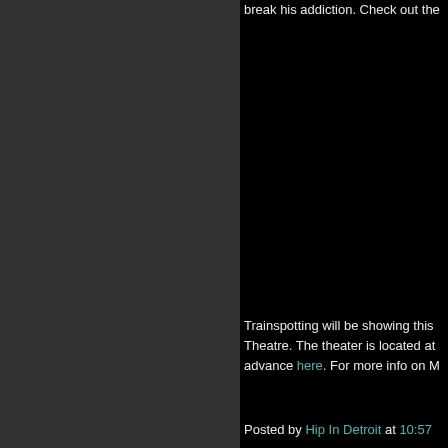break his addiction. Check out the
Trainspotting will be showing this Theatre. The theater is located at advance here. For more info on M
Posted by Hip In Detroit at 10:57